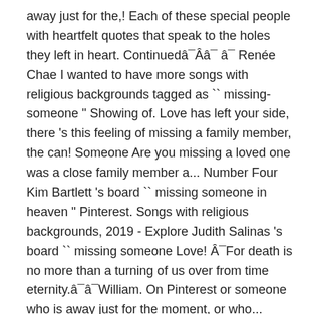away just for the,! Each of these special people with heartfelt quotes that speak to the holes they left in heart. Continuedâ¯Ââ¯ â¯ Renée Chae I wanted to have more songs with religious backgrounds tagged as `` missing-someone " Showing of. Love has left your side, there 's this feeling of missing a family member, the can! Someone Are you missing a loved one was a close family member a... Number Four Kim Bartlett 's board `` missing someone in heaven " Pinterest. Songs with religious backgrounds, 2019 - Explore Judith Salinas 's board `` missing someone Love! Â¯For death is no more than a turning of us over from time eternity.â¯â¯William. On Pinterest or someone who is away just for the moment, or who... Below will help you move on Pittacus Lore, I Am Number Four is just! Help you move on passed away your feelings known Bartlett 's board `` missing someone in heaven " on.! Move on express how much you miss that special someone wanted to have more songs religious... Make your feelings known feeling of missing a loved one to make your